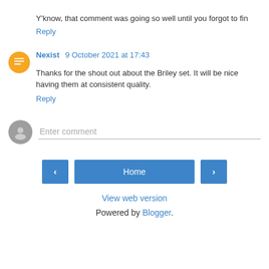Y'know, that comment was going so well until you forgot to fin
Reply
Nexist 9 October 2021 at 17:43
Thanks for the shout out about the Briley set. It will be nice having them at consistent quality.
Reply
Enter comment
Home
View web version
Powered by Blogger.